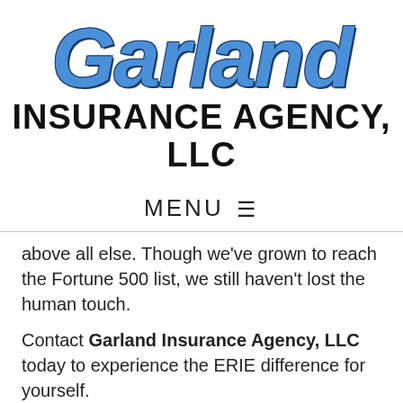[Figure (logo): Garland Insurance Agency, LLC logo with 'Garland' in large blue italic bold text and 'INSURANCE AGENCY, LLC' in black bold text below]
MENU ☰
above all else. Though we've grown to reach the Fortune 500 list, we still haven't lost the human touch.
Contact Garland Insurance Agency, LLC today to experience the ERIE difference for yourself.